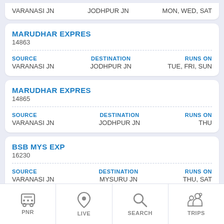VARANASI JN | JODHPUR JN | MON, WED, SAT (partial top entry)
| Train Name | Train Number | SOURCE | DESTINATION | RUNS ON |
| --- | --- | --- | --- | --- |
| MARUDHAR EXPRES | 14863 | VARANASI JN | JODHPUR JN | TUE, FRI, SUN |
| Train Name | Train Number | SOURCE | DESTINATION | RUNS ON |
| --- | --- | --- | --- | --- |
| MARUDHAR EXPRES | 14865 | VARANASI JN | JODHPUR JN | THU |
| Train Name | Train Number | SOURCE | DESTINATION | RUNS ON |
| --- | --- | --- | --- | --- |
| BSB MYS EXP | 16230 | VARANASI JN | MYSURU JN | THU, SAT |
SAB    ATI EXC | 131 | SOURCE | DESTINATION | RUNS ON (partial bottom entry, cut off)
PNR | LIVE | SEARCH | TRIPS